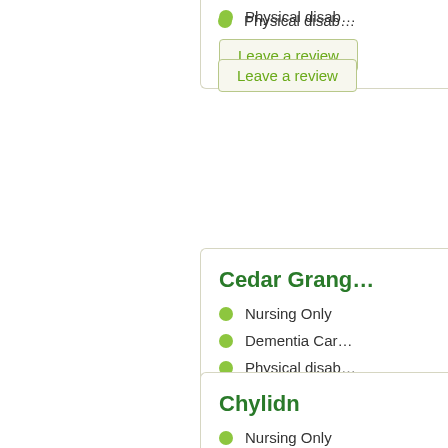Physical disab…
Leave a review
Cedar Grang…
Nursing Only
Dementia Car…
Physical disab…
Mental health
Leave a review
Chylidn
Nursing Only
Learning disa…